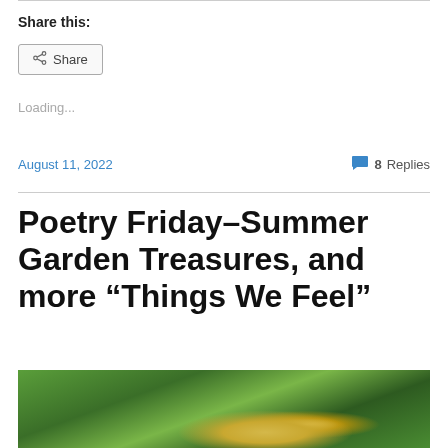Share this:
Share
Loading...
August 11, 2022   8 Replies
Poetry Friday–Summer Garden Treasures, and more “Things We Feel”
[Figure (photo): Close-up photo of green garden plants with yellow flower or vegetable, lush foliage in background]